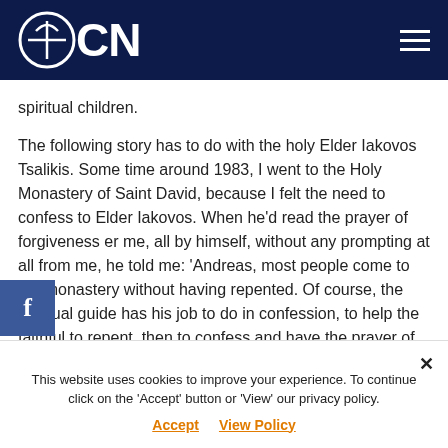OCN
spiritual children.
The following story has to do with the holy Elder Iakovos Tsalikis. Some time around 1983, I went to the Holy Monastery of Saint David, because I felt the need to confess to Elder Iakovos. When he'd read the prayer of forgiveness er me, all by himself, without any prompting at all from me, he told me: 'Andreas, most people come to the monastery without having repented. Of course, the spiritual guide has his job to do in confession, to help the faithful to repent, then to confess and have the prayer of forgiveness read over them. At holy communion, though, they're by
This website uses cookies to improve your experience. To continue click on the 'Accept' button or 'View' our privacy policy.